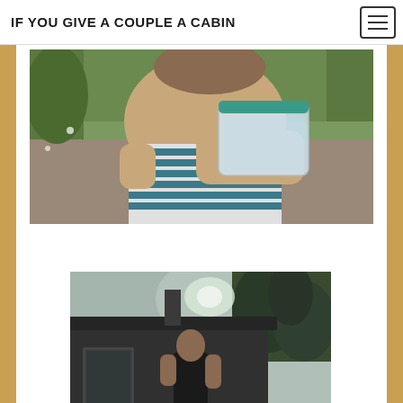IF YOU GIVE A COUPLE A CABIN
[Figure (photo): A woman outdoors holding a clear plastic bag with a teal lid up to her eye area, wearing a striped tank top, with green grass and foliage in the background]
Bag Under My Eye
[Figure (photo): A person standing outside near a dark wooden cabin or shed structure, with trees visible in the background and bright sky]